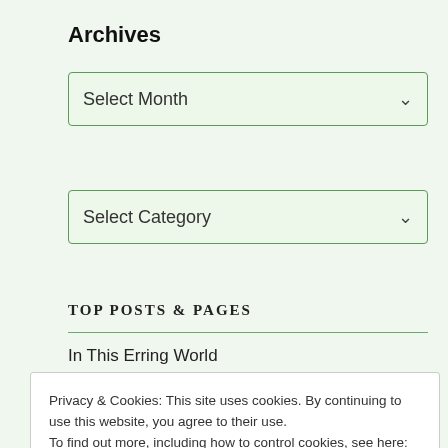Archives
Select Month
Select Category
TOP POSTS & PAGES
In This Erring World
Privacy & Cookies: This site uses cookies. By continuing to use this website, you agree to their use.
To find out more, including how to control cookies, see here: Cookie Policy
Close and accept
The Mouths that Speak